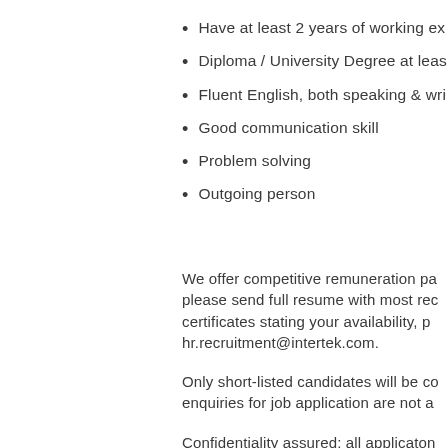Have at least 2 years of working ex
Diploma / University Degree at leas
Fluent English, both speaking & wri
Good communication skill
Problem solving
Outgoing person
We offer competitive remuneration pa please send full resume with most rec certificates stating your availability, p hr.recruitment@intertek.com.
Only short-listed candidates will be co enquiries for job application are not a
Confidentiality assured; all applicaton purpose for not more than 6 months.